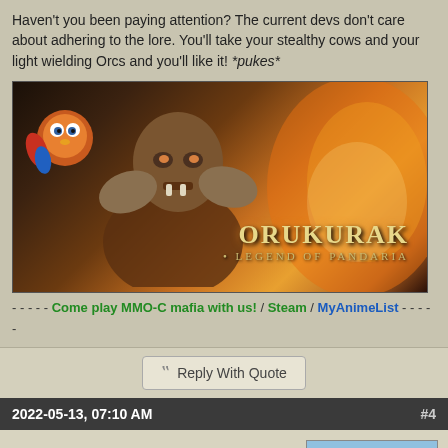Haven't you been paying attention? The current devs don't care about adhering to the lore. You'll take your stealthy cows and your light wielding Orcs and you'll like it! *pukes*
[Figure (illustration): Gaming banner image for ORUKURAK: Legend of Pandaria, showing a warrior orc character and an owl/bird companion on a fiery background]
- - - - - Come play MMO-C mafia with us! / Steam / MyAnimeList - - - - -
Reply With Quote
2022-05-13, 07:10 AM  #4
arkanon  Over 9000!
[Figure (photo): User avatar photo showing a post/bollard in a green field with a blue hat on top]
Originally Posted by Val the Moofia Boss
Haven't you been paying attention? The current devs don't care about adhering to the lore. You'll take your stealthy cows and your light wielding Orcs and you'll like it! *pukes*